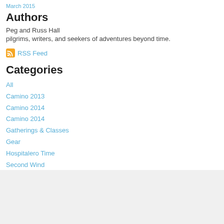March 2015
Authors
Peg and Russ Hall
pilgrims, writers, and seekers of adventures beyond time.
RSS Feed
Categories
All
Camino 2013
Camino 2014
Camino 2014
Gatherings & Classes
Gear
Hospitalero Time
Second Wind